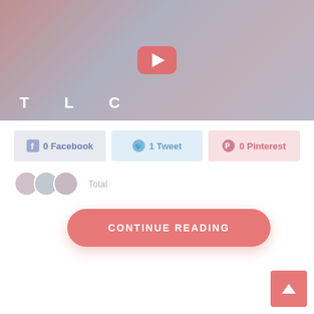[Figure (screenshot): Video thumbnail showing a man and woman with TLC logo and YouTube play button overlay]
[Figure (infographic): Social share buttons: 0 Facebook, 1 Tweet, 0 Pinterest]
Total
CONTINUE READING